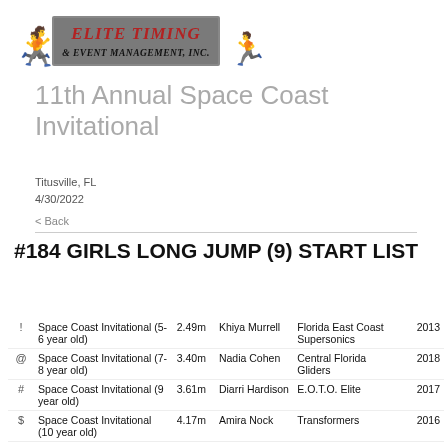[Figure (logo): Elite Timing & Event Management logo with runners silhouettes on both sides]
11th Annual Space Coast Invitational
Titusville, FL
4/30/2022
< Back
#184 GIRLS LONG JUMP (9) START LIST
|  | Event | Dist | Name | Team | Year |
| --- | --- | --- | --- | --- | --- |
| ! | Space Coast Invitational (5-6 year old) | 2.49m | Khiya Murrell | Florida East Coast Supersonics | 2013 |
| @ | Space Coast Invitational (7-8 year old) | 3.40m | Nadia Cohen | Central Florida Gliders | 2018 |
| # | Space Coast Invitational (9 year old) | 3.61m | Diarri Hardison | E.O.T.O. Elite | 2017 |
| $ | Space Coast Invitational (10 year old) | 4.17m | Amira Nock | Transformers | 2016 |